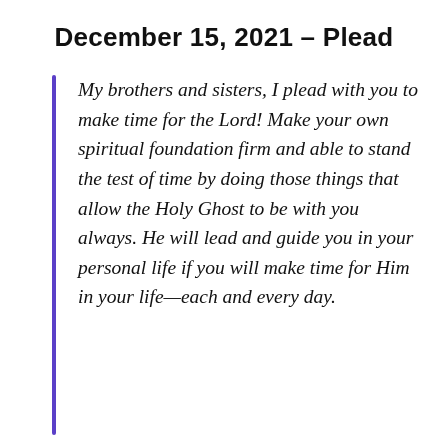December 15, 2021 – Plead
My brothers and sisters, I plead with you to make time for the Lord! Make your own spiritual foundation firm and able to stand the test of time by doing those things that allow the Holy Ghost to be with you always. He will lead and guide you in your personal life if you will make time for Him in your life—each and every day.